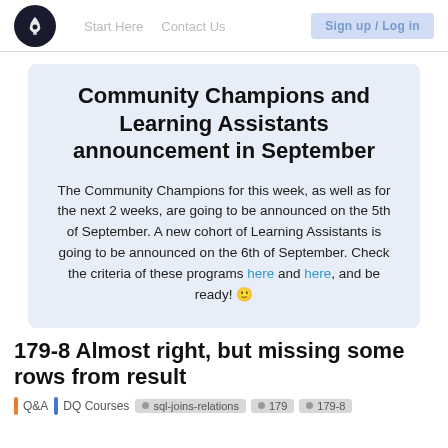Start Here   Contact Us   Sign up / Log in
Community Champions and Learning Assistants announcement in September
The Community Champions for this week, as well as for the next 2 weeks, are going to be announced on the 5th of September. A new cohort of Learning Assistants is going to be announced on the 6th of September. Check the criteria of these programs here and here, and be ready! 🙂
179-8 Almost right, but missing some rows from result
Q&A  DQ Courses  sql-joins-relations  179  179-8